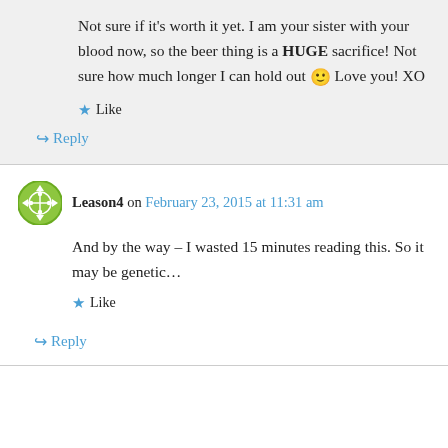Not sure if it's worth it yet. I am your sister with your blood now, so the beer thing is a HUGE sacrifice! Not sure how much longer I can hold out 🙂 Love you! XO
★ Like
↳ Reply
Leason4 on February 23, 2015 at 11:31 am
And by the way – I wasted 15 minutes reading this. So it may be genetic…
★ Like
↳ Reply